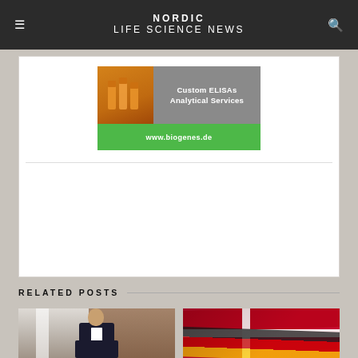NORDIC LIFE SCIENCE NEWS
[Figure (photo): Biogenes advertisement banner: Custom ELISAs Analytical Services, www.biogenes.de]
RELATED POSTS
[Figure (photo): Photo of a man in a dark suit sitting in a modern building interior]
[Figure (photo): Photo of Danish and German flags draped together]